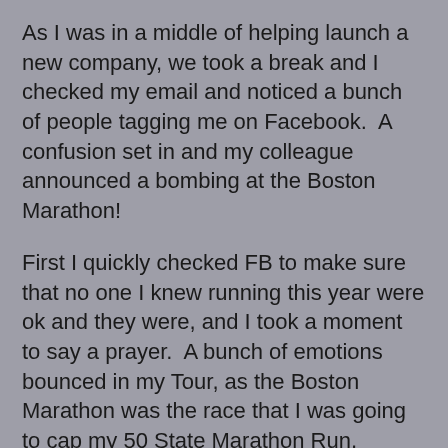As I was in a middle of helping launch a new company, we took a break and I checked my email and noticed a bunch of people tagging me on Facebook.  A confusion set in and my colleague announced a bombing at the Boston Marathon!
First I quickly checked FB to make sure that no one I knew running this year were ok and they were, and I took a moment to say a prayer.  A bunch of emotions bounced in my Tour, as the Boston Marathon was the race that I was going to cap my 50 State Marathon Run, thinking about what if that happened when I ran any marathon, to the passing of young boy who is Elijah's age, to all the families and friends who came out to cheer triumph and victory only to feel fear and worry.
More importantly, all the people who committed, sacrificed, and worked so hard to prepare for this